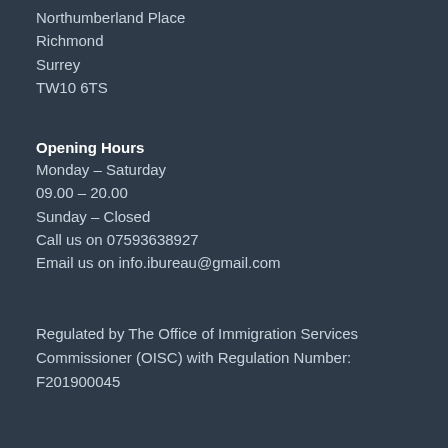Northumberland Place
Richmond
Surrey
TW10 6TS
Opening Hours
Monday – Saturday
09.00 – 20.00
Sunday – Closed
Call us on 07593638927
Email us on info.ibureau@gmail.com
Regulated by The Office of Immigration Services Commissioner (OISC) with Regulation Number: F201900045